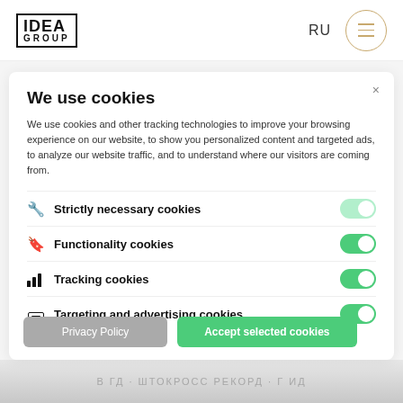IDEA GROUP | RU | menu
We use cookies
We use cookies and other tracking technologies to improve your browsing experience on our website, to show you personalized content and targeted ads, to analyze our website traffic, and to understand where our visitors are coming from.
Strictly necessary cookies
Functionality cookies
Tracking cookies
Targeting and advertising cookies
Privacy Policy | Accept selected cookies